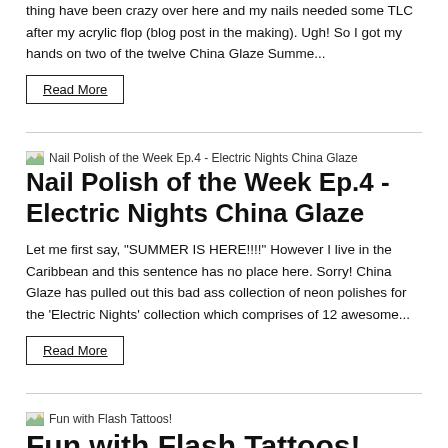thing have been crazy over here and my nails needed some TLC after my acrylic flop (blog post in the making). Ugh! So I got my hands on two of the twelve China Glaze Summe...
Read More
[Figure (photo): Thumbnail image for Nail Polish of the Week Ep.4 - Electric Nights China Glaze post]
Nail Polish of the Week Ep.4 - Electric Nights China Glaze
Let me first say, "SUMMER IS HERE!!!!" However I live in the Caribbean and this sentence has no place here. Sorry! China Glaze has pulled out this bad ass collection of neon polishes for the 'Electric Nights' collection which comprises of 12 awesome...
Read More
[Figure (photo): Thumbnail image for Fun with Flash Tattoos! post]
Fun with Flash Tattoos!